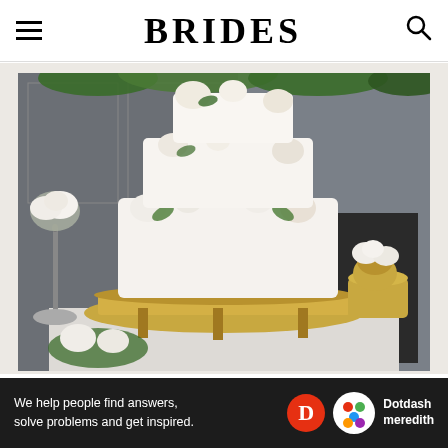BRIDES
[Figure (photo): A multi-tiered white wedding cake decorated with fresh white and cream flowers, displayed on an ornate gold stand on a white draped table in front of a gray stone fireplace with green foliage. Additional floral arrangements with greenery surround the cake.]
GETTY IMAGES
Prince Harry and Meghan Markle's wedding ca...
[Figure (infographic): Dotdash Meredith advertisement banner: 'We help people find answers, solve problems and get inspired.' with the Dotdash Meredith logo.]